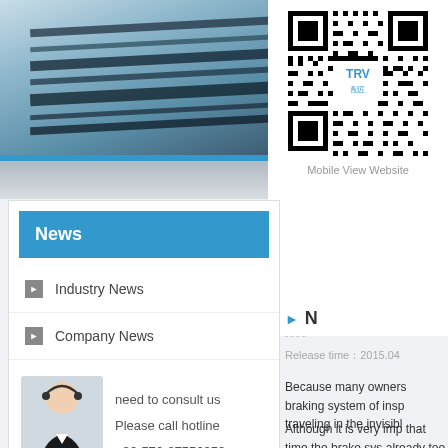[Figure (photo): Top banner photo showing dark striped fabric/clothing with blue tones]
[Figure (other): QR code for TRV mobile view website with TRV logo in center]
Mobile View Website
News
Industry News
Company News
need to consult us
Please call hotline
+86-576-87556858
Release time：2015.04
Because many owners braking system of insp traveling in the invisibl
Although it is very imp that time the brake sys already too late. We o ensure the normal wo
1, check the brake liqu
Cairo said the stock o